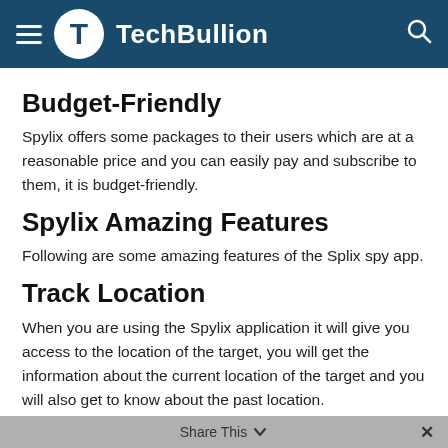TechBullion
Budget-Friendly
Spylix offers some packages to their users which are at a reasonable price and you can easily pay and subscribe to them, it is budget-friendly.
Spylix Amazing Features
Following are some amazing features of the Splix spy app.
Track Location
When you are using the Spylix application it will give you access to the location of the target, you will get the information about the current location of the target and you will also get to know about the past location.
No need to jailbreak
Share This ∨  ×